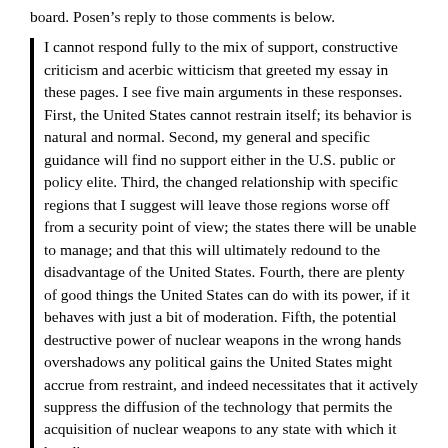board. Posen's reply to those comments is below.
I cannot respond fully to the mix of support, constructive criticism and acerbic witticism that greeted my essay in these pages. I see five main arguments in these responses. First, the United States cannot restrain itself; its behavior is natural and normal. Second, my general and specific guidance will find no support either in the U.S. public or policy elite. Third, the changed relationship with specific regions that I suggest will leave those regions worse off from a security point of view; the states there will be unable to manage; and that this will ultimately redound to the disadvantage of the United States. Fourth, there are plenty of good things the United States can do with its power, if it behaves with just a bit of moderation. Fifth, the potential destructive power of nuclear weapons in the wrong hands overshadows any political gains the United States might accrue from restraint, and indeed necessitates that it actively suppress the diffusion of the technology that permits the acquisition of nuclear weapons to any state with which it has disagreements.